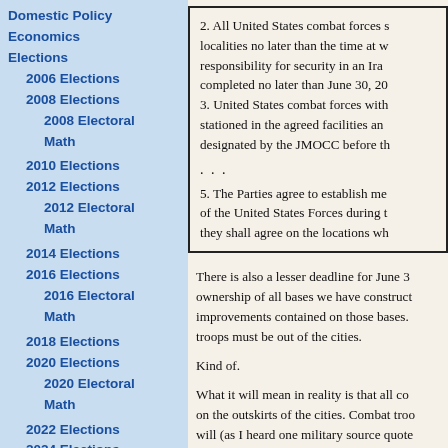Domestic Policy
Economics
Elections
2006 Elections
2008 Elections
2008 Electoral Math
2010 Elections
2012 Elections
2012 Electoral Math
2014 Elections
2016 Elections
2016 Electoral Math
2018 Elections
2020 Elections
2020 Electoral Math
2022 Elections
2024 Elections
Foreign Policy
Afghanistan
Canada
China
Cuba
Iran
Iraq
Israel
Libya
2. All United States combat forces shall withdraw from Iraqi localities no later than the time at which Iraqi Security Forces assume responsibility for security in an Iraqi locality, and this shall be completed no later than June 30, 20...
3. United States combat forces withdrawn from Iraqi localities shall be stationed in the agreed facilities and areas outside urban areas designated by the JMOCC before th...
. . .
5. The Parties agree to establish mechanisms for the withdrawal of the United States Forces during the next three years, during which they shall agree on the locations wh...
There is also a lesser deadline for June 30: Iraq takes over ownership of all bases we have constructed there, including all improvements contained on those bases. And, by June 30, combat troops must be out of the cities.
Kind of.
What it will mean in reality is that all combat troops will move on the outskirts of the cities. Combat troops will (as I heard one military source quote...) will (as I heard one military source quote...) words, not a whole lot of difference than...